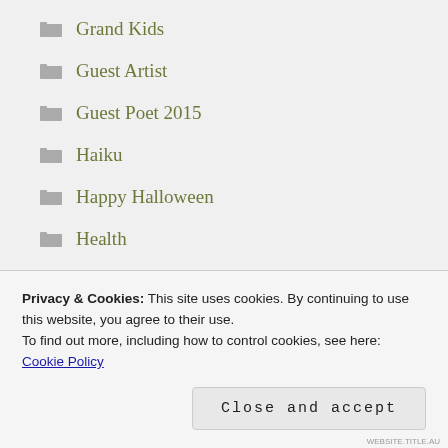Grand Kids
Guest Artist
Guest Poet 2015
Haiku
Happy Halloween
Health
heartwood
Helping Small Businesses
Heroes
Privacy & Cookies: This site uses cookies. By continuing to use this website, you agree to their use.
To find out more, including how to control cookies, see here: Cookie Policy
Close and accept